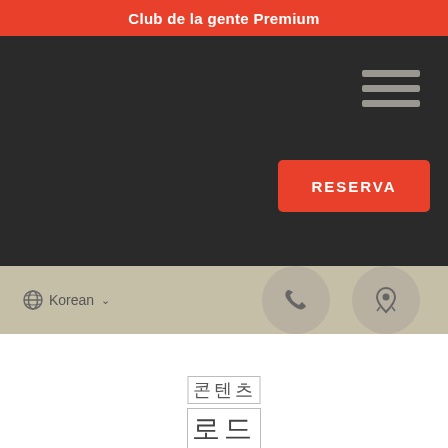Club de la gente Premium
[Figure (screenshot): Dark navigation bar with hamburger menu icon (three horizontal lines) on the right side]
[Figure (screenshot): Red RESERVA button on dark background]
[Figure (screenshot): Gray toolbar with Korean language selector showing globe icon and 'Korean' text with chevron, and two circular icon buttons (phone and map/location) on the right]
콘텐
로드